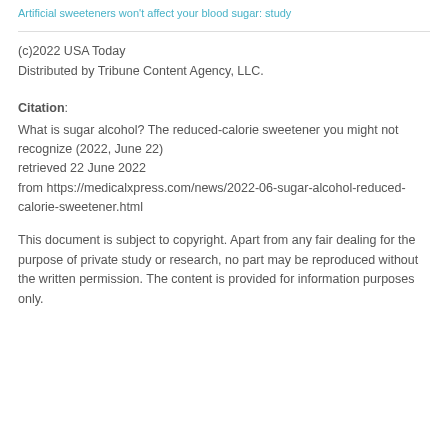Artificial sweeteners won't affect your blood sugar: study
(c)2022 USA Today
Distributed by Tribune Content Agency, LLC.
Citation:
What is sugar alcohol? The reduced-calorie sweetener you might not recognize (2022, June 22)
retrieved 22 June 2022
from https://medicalxpress.com/news/2022-06-sugar-alcohol-reduced-calorie-sweetener.html
This document is subject to copyright. Apart from any fair dealing for the purpose of private study or research, no part may be reproduced without the written permission. The content is provided for information purposes only.